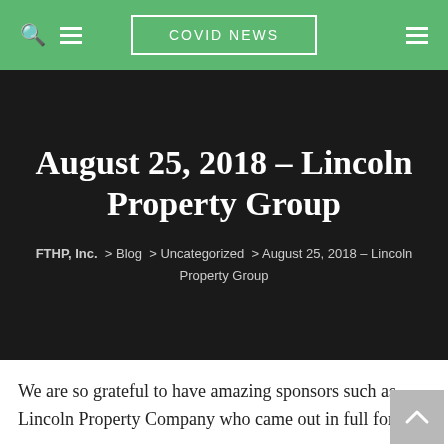COVID NEWS
August 25, 2018 – Lincoln Property Group
FTHP, Inc. > Blog > Uncategorized > August 25, 2018 – Lincoln Property Group
We are so grateful to have amazing sponsors such as Lincoln Property Company who came out in full force